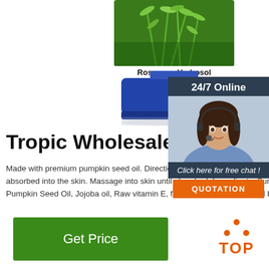[Figure (photo): Rosemary Hydrosol product: green plant on top, blue bottle below with label 'Rosemary Hydrosol']
[Figure (photo): 24/7 Online chat widget with photo of woman with headset, 'Click here for free chat!' text, and orange QUOTATION button]
Tropic Wholesale Essentials
Made with premium pumpkin seed oil. Directions: damp skin after shower for moisture retention until fully absorbed into the skin. Massage into skin until absorbed. Ingredients: Sunflower oil, Olive oil, Hemp, Pumpkin Seed Oil, Jojoba oil, Raw vitamin E, fragrance and essential oil blend. Shelf Life: ufeff12 Months
[Figure (logo): TOP badge with orange dots arranged in triangle and bold orange TOP text]
Get Price